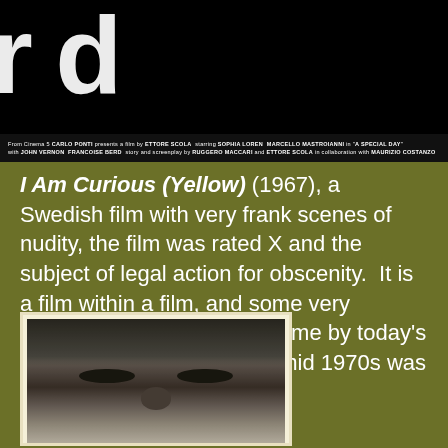[Figure (photo): Movie poster/title card with black background showing partial large white text letters (appears to be a film title). Below in smaller white text: 'From Cinema 5 CARLO PONTI presents a film by ETTORE SCOLA starring SOPHIA LOREN MARCELLO MASTROIANNI in "A SPECIAL DAY" with JOHN VERNON FRANCOISE BERD story and screenplay by RUGGERO MACCARI and ETTORE SCOLA in collaboration with MAURIZIO COSTANZO']
I Am Curious (Yellow) (1967), a Swedish film with very frank scenes of nudity, the film was rated X and the subject of legal action for obscenity. It is a film within a film, and some very fragmented relationship. Tame by today's standards, but even in the mid 1970s was pretty hot material.
[Figure (photo): Black and white close-up photograph of a young woman's face with bangs/fringe hair, looking directly at the camera. Photo appears to be a polaroid or old print with a light border.]